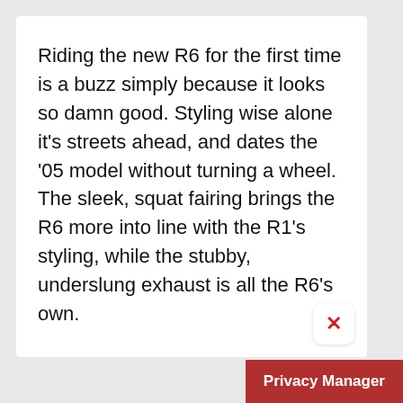Riding the new R6 for the first time is a buzz simply because it looks so damn good. Styling wise alone it's streets ahead, and dates the '05 model without turning a wheel. The sleek, squat fairing brings the R6 more into line with the R1's styling, while the stubby, underslung exhaust is all the R6's own.
Privacy Manager